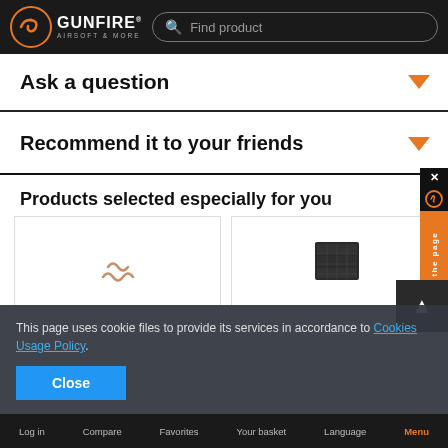GUNFIRE AIRSOFT & MORE — Find product (search bar)
Ask a question
Recommend it to your friends
Products selected especially for you
[Figure (photo): Two product cards: left shows a spring/coil image, right shows a dark rectangular block product image]
This page uses cookie files to provide its services in accordance to Cookies Usage Policy.
Close
Log in  Compare  Favorites  Your basket  Language  Menu